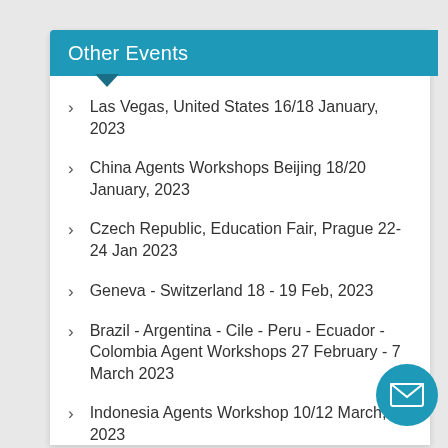Other Events
Las Vegas, United States 16/18 January, 2023
China Agents Workshops Beijing 18/20 January, 2023
Czech Republic, Education Fair, Prague 22-24 Jan 2023
Geneva - Switzerland 18 - 19 Feb, 2023
Brazil - Argentina - Cile - Peru - Ecuador - Colombia Agent Workshops 27 February - 7 March 2023
Indonesia Agents Workshop 10/12 March, 2023